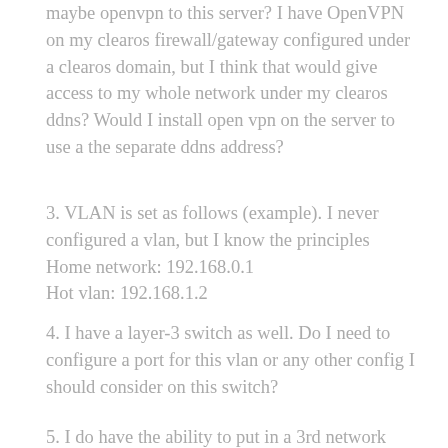maybe openvpn to this server? I have OpenVPN on my clearos firewall/gateway configured under a clearos domain, but I think that would give access to my whole network under my clearos ddns? Would I install open vpn on the server to use a the separate ddns address?
3. VLAN is set as follows (example). I never configured a vlan, but I know the principles
Home network: 192.168.0.1
Hot vlan: 192.168.1.2
4. I have a layer-3 switch as well. Do I need to configure a port for this vlan or any other config I should consider on this switch?
5. I do have the ability to put in a 3rd network card in my ClearOS box. I thought a vlan would be easier. The issue I have had in the past of adding...